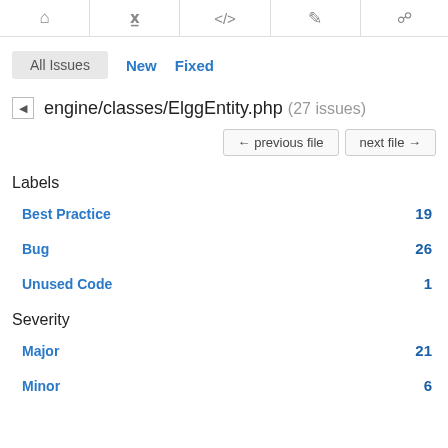All Issues  New  Fixed
engine/classes/ElggEntity.php (27 issues)
← previous file   next file →
Labels
Best Practice  19
Bug  26
Unused Code  1
Severity
Major  21
Minor  6